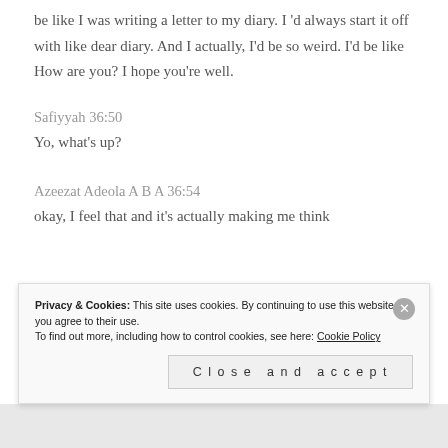be like I was writing a letter to my diary. I 'd always start it off with like dear diary. And I actually, I'd be so weird. I'd be like How are you? I hope you're well.
Safiyyah 36:50
Yo, what's up?
Azeezat Adeola A B A 36:54
okay, I feel that and it's actually making me think
Privacy & Cookies: This site uses cookies. By continuing to use this website, you agree to their use.
To find out more, including how to control cookies, see here: Cookie Policy
Close and accept